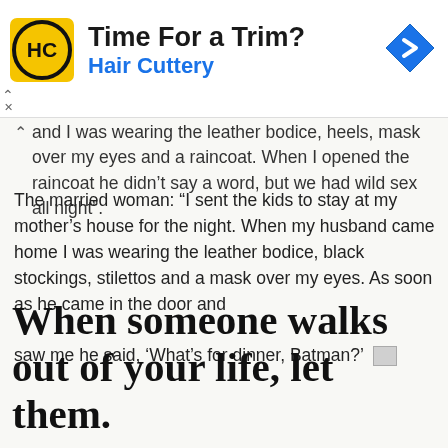[Figure (infographic): Hair Cuttery advertisement banner with logo, text 'Time For a Trim?' and 'Hair Cuttery' in blue, and a blue navigation arrow icon on the right.]
and I was wearing the leather bodice, heels, mask over my eyes and a raincoat. When I opened the raincoat he didn't say a word, but we had wild sex all night".
The married woman: “I sent the kids to stay at my mother’s house for the night. When my husband came home I was wearing the leather bodice, black stockings, stilettos and a mask over my eyes. As soon as he came in the door and saw me he said, ‘What’s for dinner, Batman?’
When someone walks out of your life, let them.